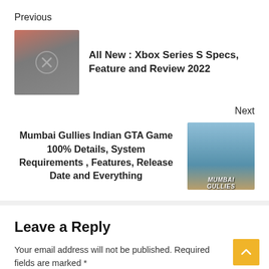Previous
[Figure (photo): Thumbnail image of Xbox console with salmon/grey tones and Xbox logo]
All New : Xbox Series S Specs, Feature and Review 2022
Next
Mumbai Gullies Indian GTA Game 100% Details, System Requirements , Features, Release Date and Everything
[Figure (photo): Thumbnail image for Mumbai Gullies game showing a man and the Mumbai Gullies logo text]
Leave a Reply
Your email address will not be published. Required fields are marked *
Comment *